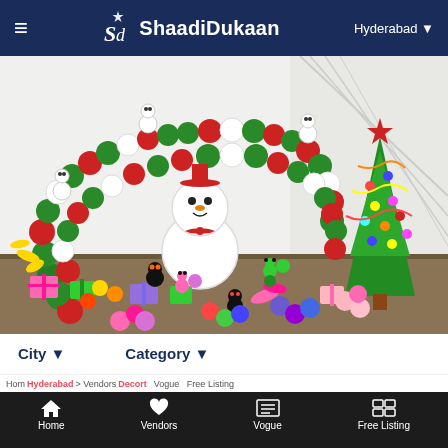ShaadiDukaan — Hyderabad
[Figure (photo): Colorful balloon decorations with a large snowman, balloon arch in red and green, balloon Christmas tree with red star, and various balloon gift boxes and animal figures arranged in a decorated event space.]
City ▼     Category ▼
Free Quotation
r Name..
Home   Vendors   Vogue   Free Listing
Hom Hyderabad > Vendors Decort   Vogue   Free Listing